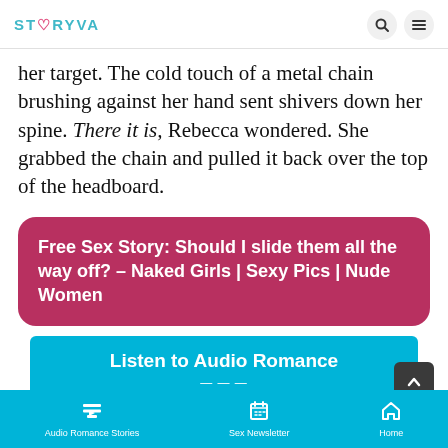STORYVA
her target. The cold touch of a metal chain brushing against her hand sent shivers down her spine. There it is, Rebecca wondered. She grabbed the chain and pulled it back over the top of the headboard.
Free Sex Story: Should I slide them all the way off? – Naked Girls | Sexy Pics | Nude Women
Listen to Audio Romance
Audio Romance Stories | Sex Newsletter | Home